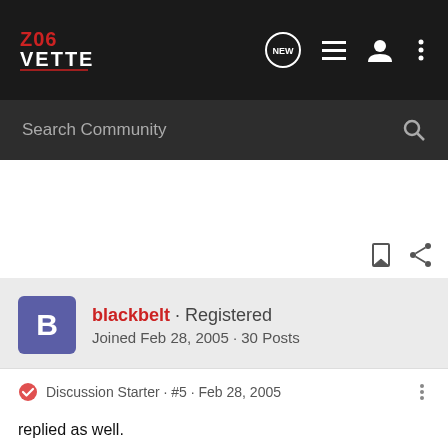Z06Vette
Search Community
blackbelt · Registered
Joined Feb 28, 2005 · 30 Posts
Discussion Starter · #5 · Feb 28, 2005
replied as well.